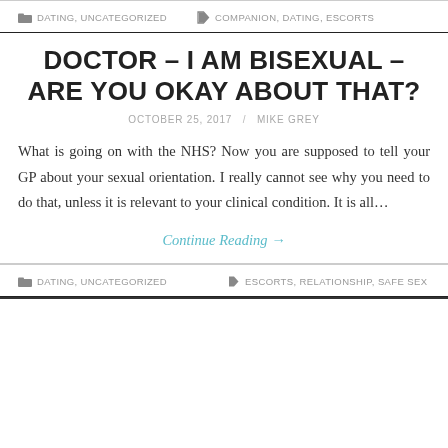DATING, UNCATEGORIZED  COMPANION, DATING, ESCORTS
DOCTOR – I AM BISEXUAL – ARE YOU OKAY ABOUT THAT?
OCTOBER 25, 2017 / MIKE GREY
What is going on with the NHS? Now you are supposed to tell your GP about your sexual orientation. I really cannot see why you need to do that, unless it is relevant to your clinical condition. It is all…
Continue Reading →
DATING, UNCATEGORIZED  ESCORTS, RELATIONSHIP, SAFE SEX